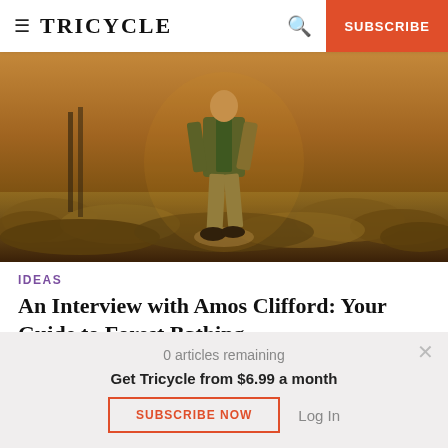TRICYCLE | SUBSCRIBE
[Figure (photo): A person walking through a dry, golden scrubland landscape at warm sunset light, wearing a green jacket and tan pants]
IDEAS
An Interview with Amos Clifford: Your Guide to Forest Bathing
0 articles remaining
Get Tricycle from $6.99 a month
SUBSCRIBE NOW   Log In